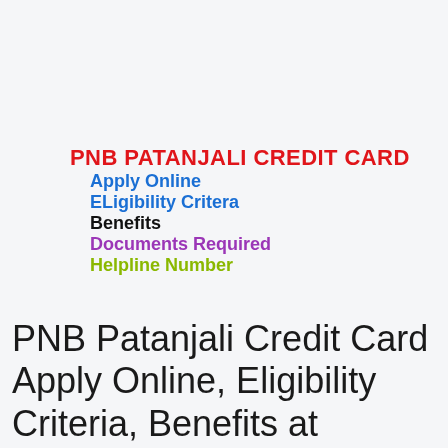PNB PATANJALI CREDIT CARD
Apply Online
ELigibility Critera
Benefits
Documents Required
Helpline Number
PNB Patanjali Credit Card Apply Online, Eligibility Criteria, Benefits at